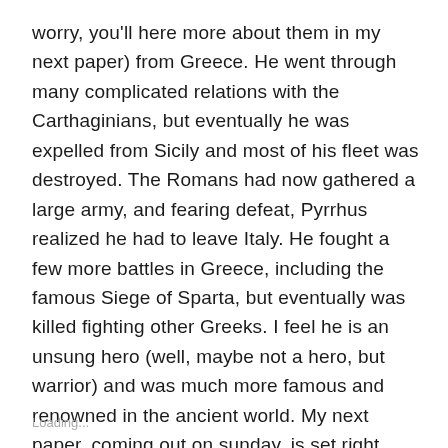worry, you'll here more about them in my next paper) from Greece. He went through many complicated relations with the Carthaginians, but eventually he was expelled from Sicily and most of his fleet was destroyed. The Romans had now gathered a large army, and fearing defeat, Pyrrhus realized he had to leave Italy. He fought a few more battles in Greece, including the famous Siege of Sparta, but eventually was killed fighting other Greeks. I feel he is an unsung hero (well, maybe not a hero, but warrior) and was much more famous and renowned in the ancient world. My next paper, coming out on sunday, is set right after he left Italy. As Rome and Carthage expanded, they both realized something. There could be only one victor.
Loading...